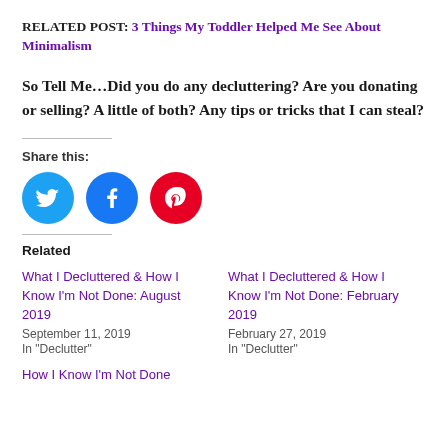RELATED POST: 3 Things My Toddler Helped Me See About Minimalism
So Tell Me…Did you do any decluttering? Are you donating or selling? A little of both? Any tips or tricks that I can steal?
Share this:
[Figure (infographic): Three social media share buttons: Twitter (blue circle), Facebook (blue circle), Pinterest (red circle)]
Related
What I Decluttered & How I Know I'm Not Done: August 2019
September 11, 2019
In "Declutter"
What I Decluttered & How I Know I'm Not Done: February 2019
February 27, 2019
In "Declutter"
How I Know I'm Not Done